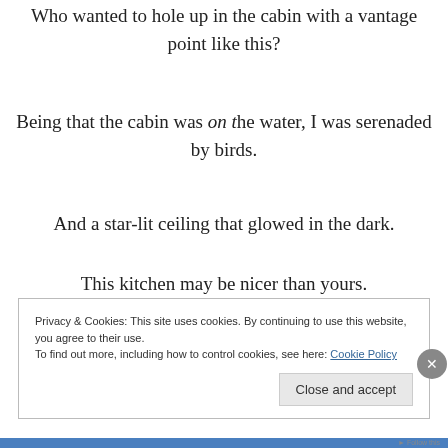Who wanted to hole up in the cabin with a vantage point like this?
Being that the cabin was on the water, I was serenaded by birds.
And a star-lit ceiling that glowed in the dark.
This kitchen may be nicer than yours.
Privacy & Cookies: This site uses cookies. By continuing to use this website, you agree to their use.
To find out more, including how to control cookies, see here: Cookie Policy
Close and accept